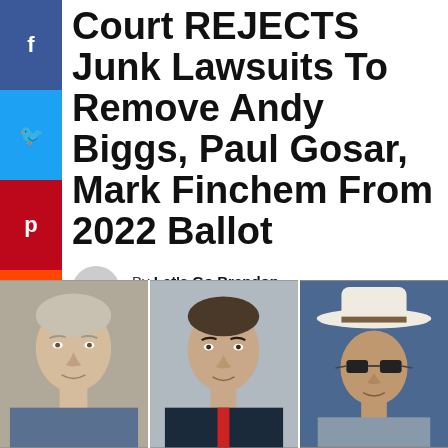Court REJECTS Junk Lawsuits To Remove Andy Biggs, Paul Gosar, Mark Finchem From 2022 Ballot
By Let's Go Brandon
MAY 10, 2022
[Figure (photo): Three photos side by side: Andy Biggs (older man with gray/light hair), Paul Gosar (man in suit), and Mark Finchem (man wearing a white cowboy hat)]